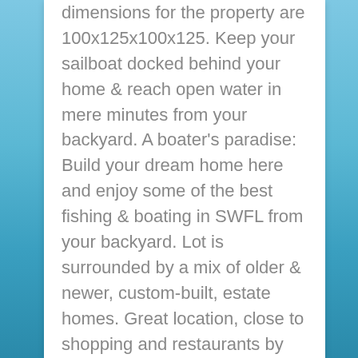dimensions for the property are 100x125x100x125. Keep your sailboat docked behind your home & reach open water in mere minutes from your backyard. A boater's paradise: Build your dream home here and enjoy some of the best fishing & boating in SWFL from your backyard. Lot is surrounded by a mix of older & newer, custom-built, estate homes. Great location, close to shopping and restaurants by car or boat. Make an offer today & claim your spot ...
Read more....»